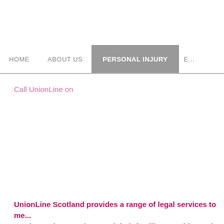HOME   ABOUT US   PERSONAL INJURY   E...
Call UnionLine on
UnionLine Scotland provides a range of legal services to me... service, union members and their families are able to win co...